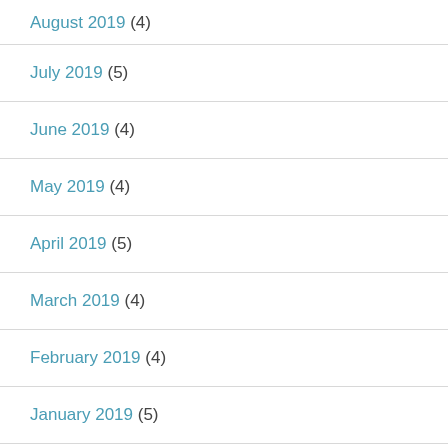August 2019 (4)
July 2019 (5)
June 2019 (4)
May 2019 (4)
April 2019 (5)
March 2019 (4)
February 2019 (4)
January 2019 (5)
December 2018 (4)